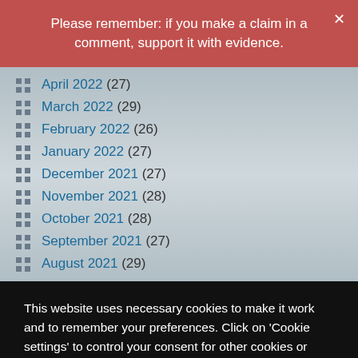Please remember: if you make a claim in a comment, support it with evidence.
April 2022 (27)
March 2022 (29)
February 2022 (26)
January 2022 (27)
December 2021 (27)
November 2021 (28)
October 2021 (28)
September 2021 (27)
August 2021 (29)
This website uses necessary cookies to make it work and to remember your preferences. Click on 'Cookie settings' to control your consent for other cookies or click on 'Accept all' to consent to the use of all cookies. By continuing to browse this website you are agreeing to our Privacy policy.